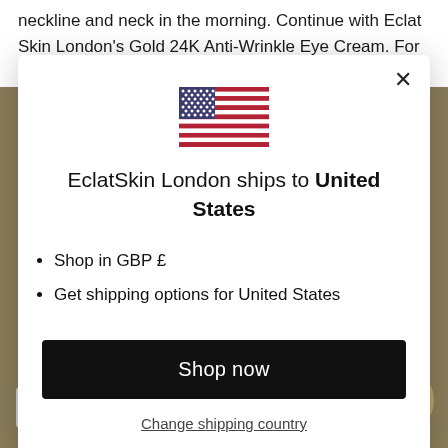neckline and neck in the morning. Continue with Eclat Skin London's Gold 24K Anti-Wrinkle Eye Cream. For best results use
[Figure (screenshot): Modal dialog showing US flag, text 'EclatSkin London ships to United States', bullet points for GBP currency and shipping options, Shop now button, and Change shipping country link]
Got It!
Deny